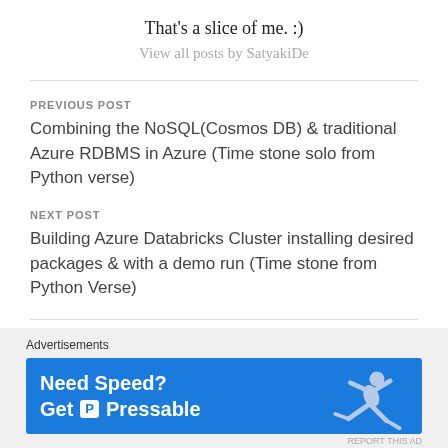That's a slice of me. :)
View all posts by SatyakiDe
PREVIOUS POST
Combining the NoSQL(Cosmos DB) & traditional Azure RDBMS in Azure (Time stone solo from Python verse)
NEXT POST
Building Azure Databricks Cluster installing desired packages & with a demo run (Time stone from Python Verse)
Advertisements
[Figure (infographic): Blue advertisement banner for Pressable hosting: 'Need Speed? Get Pressable' with a running person graphic]